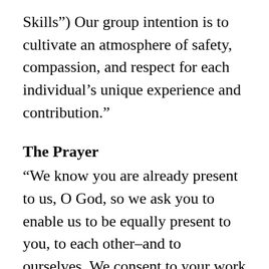Skills") Our group intention is to cultivate an atmosphere of safety, compassion, and respect for each individual’s unique experience and contribution.”
The Prayer
“We know you are already present to us, O God, so we ask you to enable us to be equally present to you, to each other–and to ourselves. We consent to your work in us. As we learn new practices, may we be delivered from the ‘pace, power, and priorities’ (Villodas) of our world.” (60